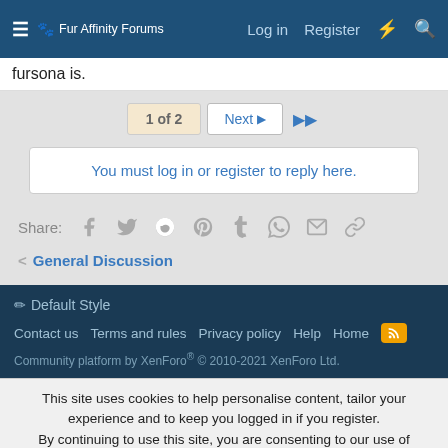Fur Affinity Forums — Log in | Register
fursona is.
1 of 2  Next  ▶▶
You must log in or register to reply here.
Share:  [Facebook] [Twitter] [Reddit] [Pinterest] [Tumblr] [WhatsApp] [Email] [Link]
< General Discussion
✏ Default Style
Contact us  Terms and rules  Privacy policy  Help  Home  [RSS]
Community platform by XenForo® © 2010-2021 XenForo Ltd.
This site uses cookies to help personalise content, tailor your experience and to keep you logged in if you register.
By continuing to use this site, you are consenting to our use of cookies.
Accept  Learn more...